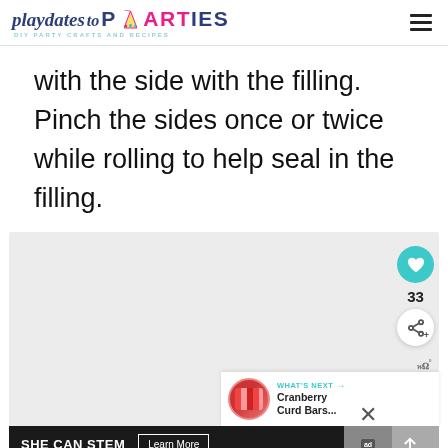playdates to PARTIES — DIY PARTY CRAFTS AND RECIPES
with the side with the filling. Pinch the sides once or twice while rolling to help seal in the filling.
[Figure (photo): Blank recipe step photo placeholder with social sharing buttons (heart icon, count 33, share icon), a What's Next panel showing Cranberry Curd Bars thumbnail, and a SHE CAN STEM ad banner at the bottom.]